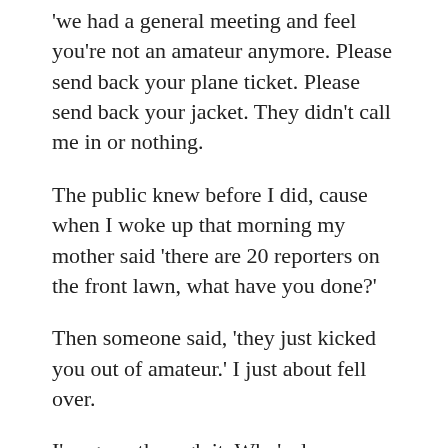'we had a general meeting and feel you're not an amateur anymore. Please send back your plane ticket. Please send back your jacket. They didn't call me in or nothing.
The public knew before I did, cause when I woke up that morning my mother said 'there are 20 reporters on the front lawn, what have you done?'
Then someone said, 'they just kicked you out of amateur.' I just about fell over.
I've gone through it. Who's done more for golf in Canada than this guy? Who's got the most color?
Who put the most laughs in the game, winning tournaments? This guy. Playing holes backward, stuff like that. Hitting balls in buckets?